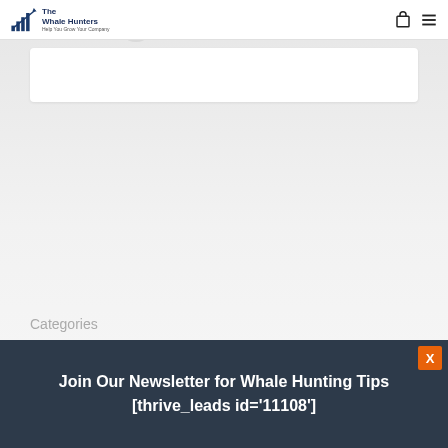The Whale Hunters — Help You Grow Your Company
Barbara Weaver Smith
October 1, 2020
Categories
Big Growth Summit
Join Our Newsletter for Whale Hunting Tips [thrive_leads id='11108']